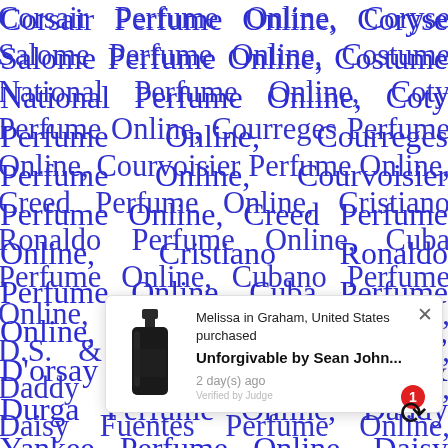Corsair Perfume Online, Coryse Salome Perfume Online, Costume National Perfume Online, Coty Perfume Online, Courreges Perfume Online, Courvoisier Perfume Online, Creed Perfume Online, Cristiano Ronaldo Perfume Online, Cuba Perfume Online, Cubano Perfume Online, D'orsay Perfume Online, D.S. & Durga Perfume Online, Daddy Yankee Perfume Online, Daisy Fuentes Perfume Online, Dana Perfume Online, Darzi, David Beckham Perfume Online, David Yurm... fume Online, Designer Parfums ltd Perfume Online, Demeter Perfume Online, Daisy Fuentes by Designer Perfume Online,
[Figure (other): Popup notification showing a dark perfume bottle (Unforgivable by Sean John), with text: 'Melissa in Graham, United States purchased Unforgivable by Sean John... 2 day(s) ago Verified by Judge'. A red cart badge with number 1 is visible.]